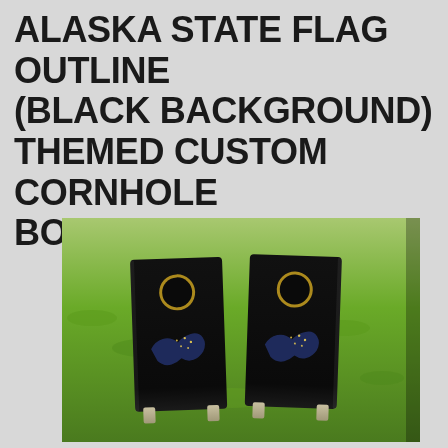ALASKA STATE FLAG OUTLINE (BLACK BACKGROUND) THEMED CUSTOM CORNHOLE BOARD DESIGN
[Figure (photo): Photo of two black cornhole boards with Alaska state flag outline design (silhouette of Alaska with stars) on a green grass background. Boards have a circular hole near the top.]